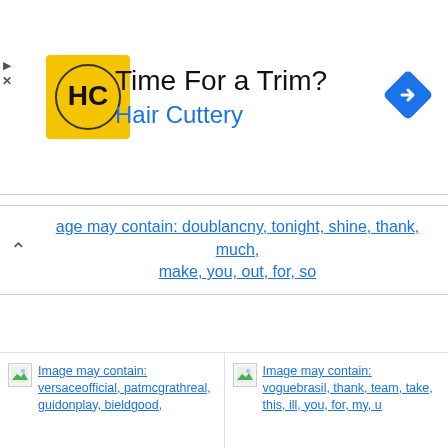[Figure (screenshot): Hair Cuttery advertisement banner with yellow HC logo, title 'Time For a Trim?' and subtitle 'Hair Cuttery' in blue, with a blue diamond direction icon on the right.]
age may contain: doublancny, tonight, shine, thank, much, make, you, out, for, so
Image may contain: versaceofficial, patmcgrathreal, guidonplay, bieldgood,
Image may contain: voguebrasil, thank, team, take, this, ill, you, for, my, u